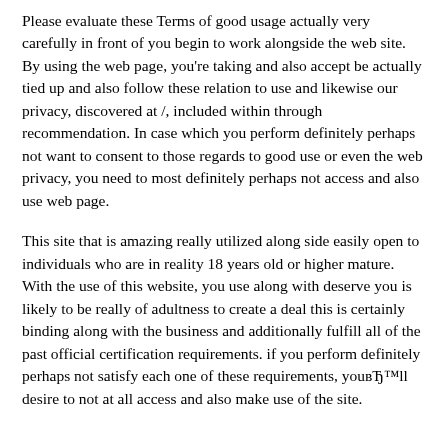Please evaluate these Terms of good usage actually very carefully in front of you begin to work alongside the web site. By using the web page, you're taking and also accept be actually tied up and also follow these relation to use and likewise our privacy, discovered at /, included within through recommendation. In case which you perform definitely perhaps not want to consent to those regards to good use or even the web privacy, you need to most definitely perhaps not access and also use web page.
This site that is amazing really utilized along side easily open to individuals who are in reality 18 years old or higher mature. With the use of this website, you use along with deserve you is likely to be really of adultness to create a deal this is certainly binding along with the business and additionally fulfill all of the past official certification requirements. if you perform definitely perhaps not satisfy each one of these requirements, youвЂ™ll desire to not at all access and also make use of the site.